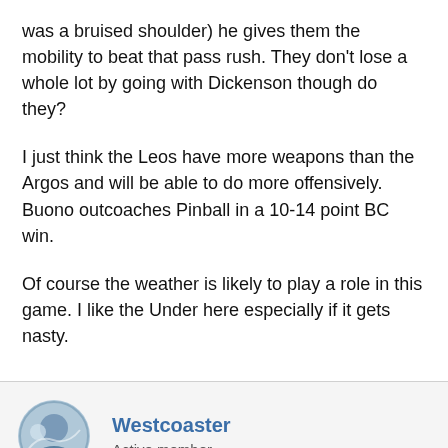was a bruised shoulder) he gives them the mobility to beat that pass rush. They don't lose a whole lot by going with Dickenson though do they?
I just think the Leos have more weapons than the Argos and will be able to do more offensively. Buono outcoaches Pinball in a 10-14 point BC win.
Of course the weather is likely to play a role in this game. I like the Under here especially if it gets nasty.
Westcoaster
Active member
Nov 15, 2004
#7
The line is now BC- 4.5.
I see it dropping.